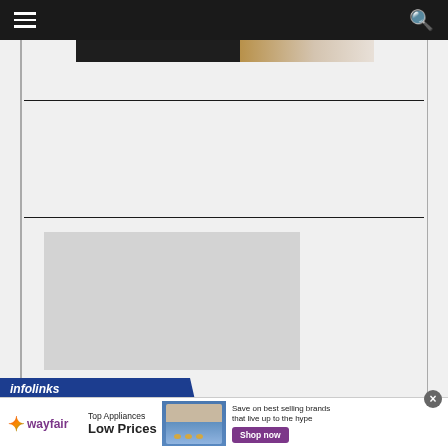Navigation bar with hamburger menu and search icon
[Figure (photo): Partial image of a dark and warm-toned photograph, cropped at top]
[Figure (other): Gray advertisement placeholder rectangle]
[Figure (other): Infolinks branded bar in dark blue]
[Figure (other): Wayfair advertisement banner: Top Appliances Low Prices, with stove image and Shop now button in purple, Save on best selling brands that live up to the hype]